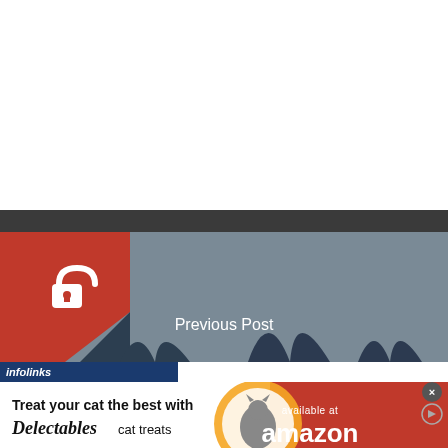[Figure (screenshot): White empty space at top of webpage]
[Figure (screenshot): Dark navigation bar strip]
[Figure (illustration): Previous Post image showing industrial cooling towers (nuclear/power plant silhouettes) on a grey-blue background, with a red badge containing a white padlock icon on the left, and 'Previous Post' text centered]
infolinks
[Figure (photo): Advertisement banner: 'Treat your cat the best with Delectables cat treats' on white background with cat photo and circular yellow/orange design, right side red background with 'available at amazon' text and smile logo]
[Figure (screenshot): Light grey bottom strip of webpage]